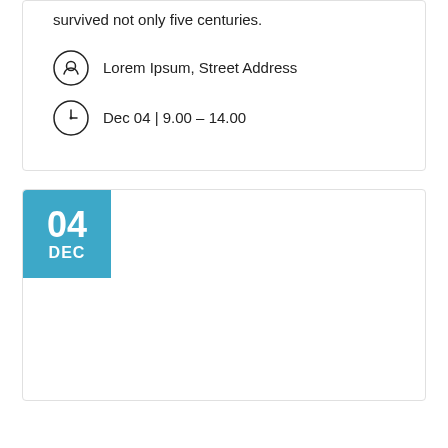survived not only five centuries.
Lorem Ipsum, Street Address
Dec 04 | 9.00 – 14.00
[Figure (other): Date badge showing 04 DEC in teal/blue color on a card]
04 DEC